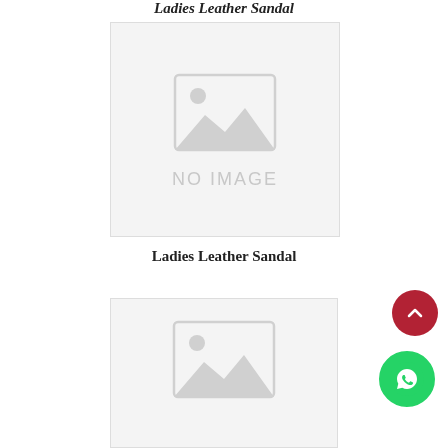Ladies Leather Sandal
[Figure (photo): Product placeholder image with 'NO IMAGE' text for Ladies Leather Sandal]
Ladies Leather Sandal
[Figure (photo): Product placeholder image with 'NO IMAGE' text (partially visible, second product card)]